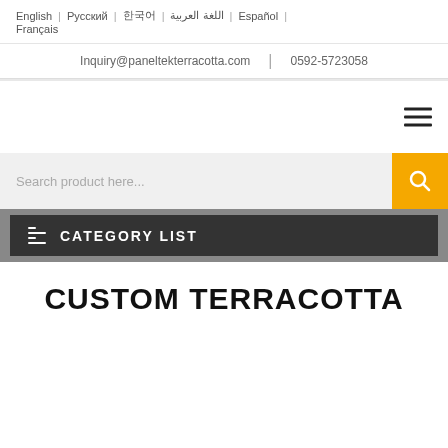English | Русский | 한국어 | اللغة العربية | Español | Français
Inquiry@paneltekterracotta.com | 0592-5723058
[Figure (screenshot): Hamburger menu icon (three horizontal lines)]
Search product here...
CATEGORY LIST
CUSTOM TERRACOTTA